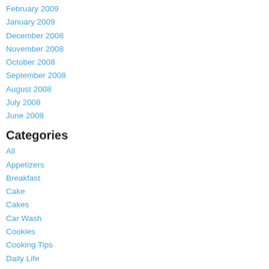February 2009
January 2009
December 2008
November 2008
October 2008
September 2008
August 2008
July 2008
June 2008
Categories
All
Appetizers
Breakfast
Cake
Cakes
Car Wash
Cookies
Cooking Tips
Daily Life
Desserts